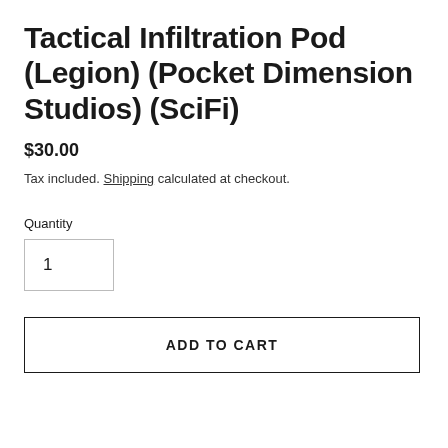Tactical Infiltration Pod (Legion) (Pocket Dimension Studios) (SciFi)
$30.00
Tax included. Shipping calculated at checkout.
Quantity
1
ADD TO CART